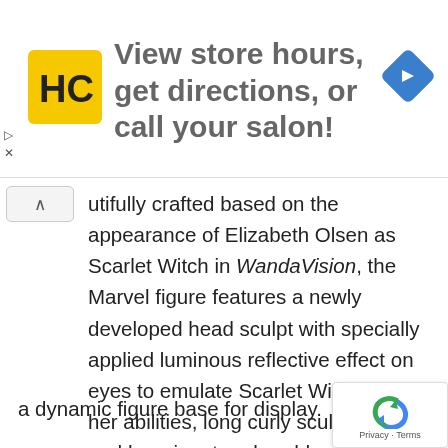[Figure (logo): HC Hair Cuttery yellow square logo with stylized HC letters]
View store hours, get directions, or call your salon!
[Figure (illustration): Blue navigation diamond arrow icon pointing right]
utifully crafted based on the appearance of Elizabeth Olsen as Scarlet Witch in WandaVision, the Marvel figure features a newly developed head sculpt with specially applied luminous reflective effect on eyes to emulate Scarlet Witch using her abilities, long curly sculpted hair and her signature headdress, a newly designed body equipped with LED light-up function on both sides of the forearms, detailed outfit including the hooded cape, specially created hands with red translucent fingertips, Darkhold book, power-using effect accessories, a dynamic figure base for display.
[Figure (logo): Google reCAPTCHA icon with Privacy and Terms links]